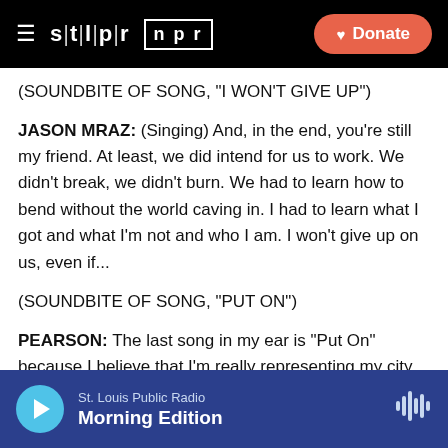stlpr npr | Donate
(SOUNDBITE OF SONG, "I WON'T GIVE UP")
JASON MRAZ: (Singing) And, in the end, you're still my friend. At least, we did intend for us to work. We didn't break, we didn't burn. We had to learn how to bend without the world caving in. I had to learn what I got and what I'm not and who I am. I won't give up on us, even if...
(SOUNDBITE OF SONG, "PUT ON")
PEARSON: The last song in my ear is "Put On" because I believe that I'm really representing my city, being from Memphis, Tennessee, and really representing my
St. Louis Public Radio | Morning Edition